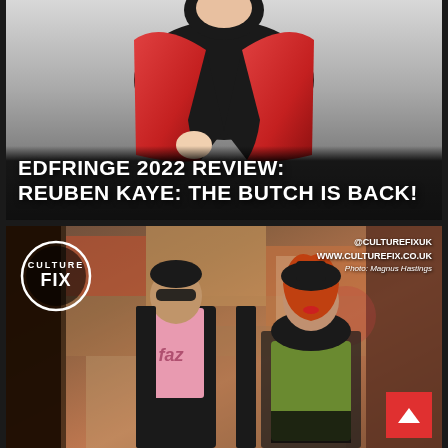[Figure (photo): Top half: promotional photo of performer in red satin jacket with black lapels holding open the jacket, against white/grey background. White bold text overlay reads: EDFRINGE 2022 REVIEW: REUBEN KAYE: THE BUTCH IS BACK!]
EDFRINGE 2022 REVIEW: REUBEN KAYE: THE BUTCH IS BACK!
[Figure (photo): Bottom half: Culture Fix branded photo. Left circle logo reads CULTURE FIX. Top right text: @CULTUREFIXUK, WWW.CULTUREFIX.CO.UK, Photo: Magnus Hastings. Two people stand before a colourful collage wall backdrop — a man in sunglasses, black jacket and pink t-shirt, and a woman in elaborate drag costume with red hair, black hat, green/black outfit. Red back-to-top arrow button in lower right.]